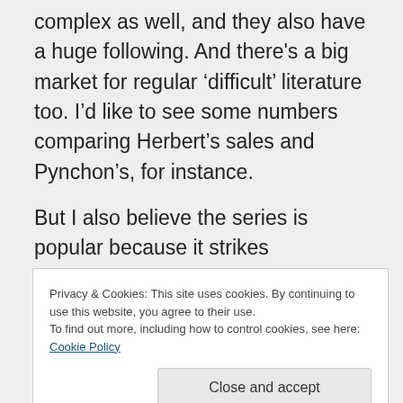complex as well, and they also have a huge following. And there's a big market for regular 'difficult' literature too. I'd like to see some numbers comparing Herbert's sales and Pynchon's, for instance.

But I also believe the series is popular because it strikes
Privacy & Cookies: This site uses cookies. By continuing to use this website, you agree to their use.
To find out more, including how to control cookies, see here: Cookie Policy
Close and accept
to lots of different people;